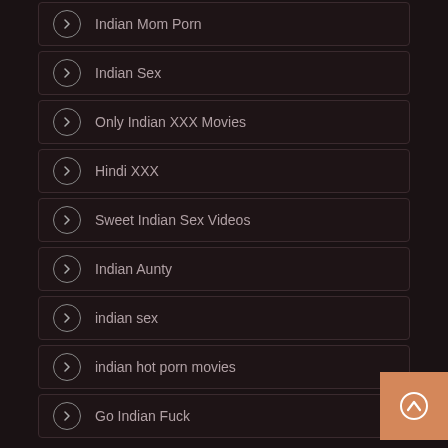Indian Mom Porn
Indian Sex
Only Indian XXX Movies
Hindi XXX
Sweet Indian Sex Videos
Indian Aunty
indian sex
indian hot porn movies
Go Indian Fuck